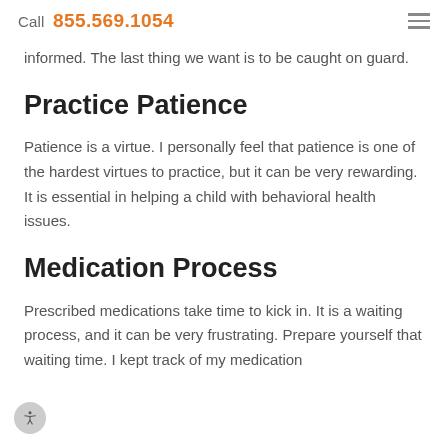Call 855.569.1054
informed. The last thing we want is to be caught on guard.
Practice Patience
Patience is a virtue. I personally feel that patience is one of the hardest virtues to practice, but it can be very rewarding. It is essential in helping a child with behavioral health issues.
Medication Process
Prescribed medications take time to kick in. It is a waiting process, and it can be very frustrating. Prepare yourself that waiting time. I kept track of my medication